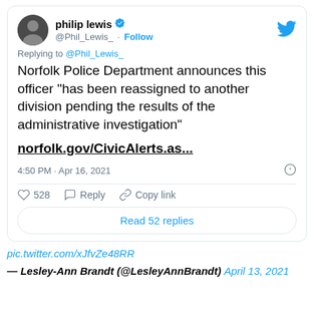[Figure (screenshot): Twitter/X post by philip lewis (@Phil_Lewis_) with verified badge, showing tweet text about Norfolk Police Department reassigning officer, with link to norfolk.gov/CivicAlerts.as..., timestamp 4:50 PM · Apr 16, 2021, 528 likes, Reply, Copy link, and Read 52 replies button]
pic.twitter.com/xJfvZe48RR
— Lesley-Ann Brandt (@LesleyAnnBrandt) April 13, 2021